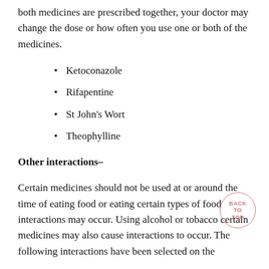both medicines are prescribed together, your doctor may change the dose or how often you use one or both of the medicines.
Ketoconazole
Rifapentine
St John's Wort
Theophylline
Other interactions–
Certain medicines should not be used at or around the time of eating food or eating certain types of food interactions may occur. Using alcohol or tobacco certain medicines may also cause interactions to occur. The following interactions have been selected on the